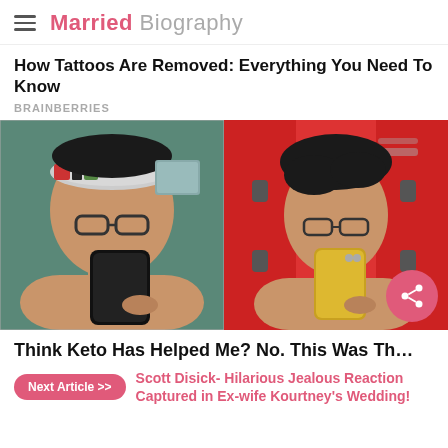Married Biography
How Tattoos Are Removed: Everything You Need To Know
BRAINBERRIES
[Figure (photo): Side-by-side before and after mirror selfie photos of a person showing weight loss transformation. Left: person wearing glasses and a headband taking a shirtless mirror selfie. Right: same person now slimmer, taking a shirtless mirror selfie in front of red lockers.]
Think Keto Has Helped Me? No. This Was Th…
Next Article >> Scott Disick- Hilarious Jealous Reaction Captured in Ex-wife Kourtney's Wedding!